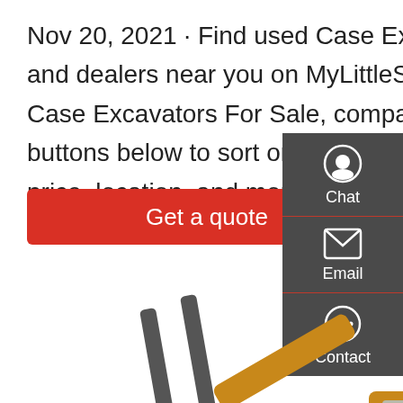Nov 20, 2021 · Find used Case Excavators For Sale by owners and dealers near you on MyLittleSalesman.com. Browse over 32 Case Excavators For Sale, compare prices, and save. Use the buttons below to sort or filter your search results by model, year, price, location, and more. Filter by Price. Filter by Year. Filter by Location.
Get a quote
[Figure (screenshot): Dark sidebar with chat, email, and contact icons and labels on a gray background]
[Figure (photo): Yellow wheel loader / forklift construction machine with raised forks]